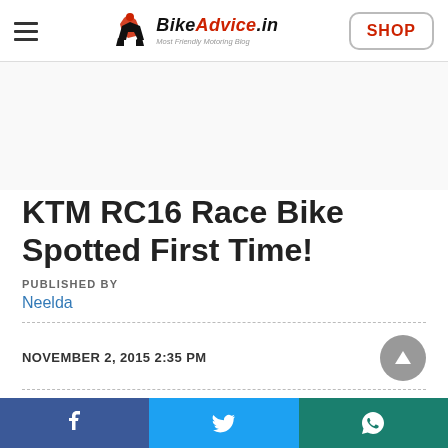BikeAdvice.in — Most Friendly Motoring Blog | SHOP
KTM RC16 Race Bike Spotted First Time!
PUBLISHED BY
Neelda
NOVEMBER 2, 2015 2:35 PM